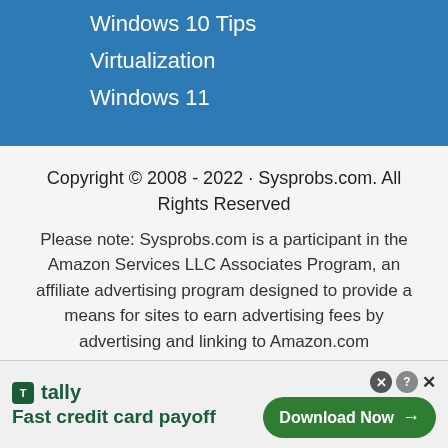Windows 10 Tips
Virtualization
Windows 11
Copyright © 2008 - 2022 · Sysprobs.com. All Rights Reserved
Please note: Sysprobs.com is a participant in the Amazon Services LLC Associates Program, an affiliate advertising program designed to provide a means for sites to earn advertising fees by advertising and linking to Amazon.com
[Figure (other): Tally app advertisement banner with 'Fast credit card payoff' tagline and 'Download Now' button]